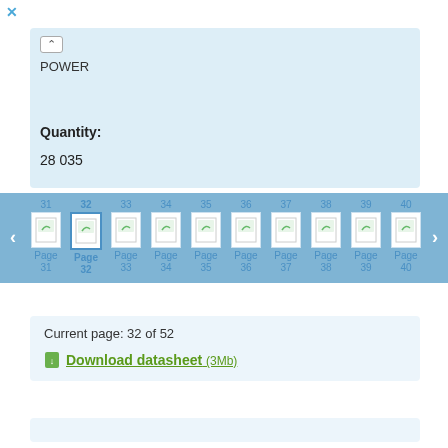✕
POWER
Quantity:
28 035
[Figure (screenshot): Page carousel showing pages 31 through 40. Page 32 is currently selected (highlighted with border). Each page item shows a page number on top, a small document thumbnail with a green leaf/page icon, the label 'Page' and the page number below.]
Current page: 32 of 52
Download datasheet (3Mb)